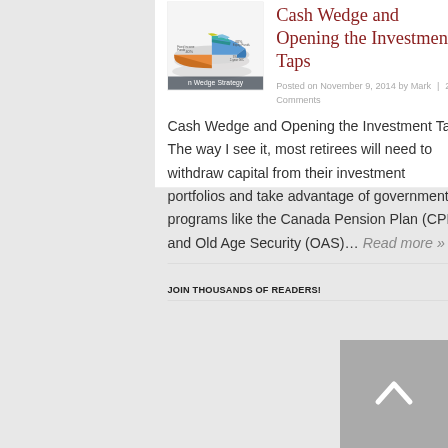[Figure (pie-chart): 3D pie/stacked chart illustration showing Cash Wedge Strategy with colored segments and a label bar reading 'n Wedge Strategy']
Cash Wedge and Opening the Investment Taps
Posted on November 9, 2014 by Mark  |  23 Comments
Cash Wedge and Opening the Investment Taps The way I see it, most retirees will need to withdraw capital from their investment portfolios and take advantage of government programs like the Canada Pension Plan (CPP) and Old Age Security (OAS)…
Read more »
JOIN THOUSANDS OF READERS!